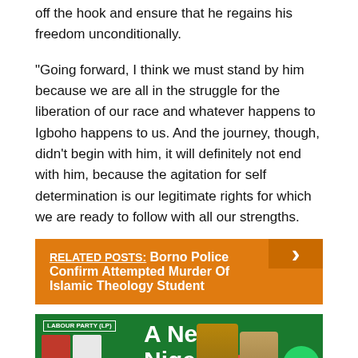off the hook and ensure that he regains his freedom unconditionally.
“Going forward, I think we must stand by him because we are all in the struggle for the liberation of our race and whatever happens to Igboho happens to us. And the journey, though, didn’t begin with him, it will definitely not end with him, because the agitation for self determination is our legitimate rights for which we are ready to follow with all our strengths.
RELATED POSTS: Borno Police Confirm Attempted Murder Of Islamic Theology Student
[Figure (photo): Labour Party (LP) campaign banner with text 'A New Nigeria is' with two candidate photos and WhatsApp button]